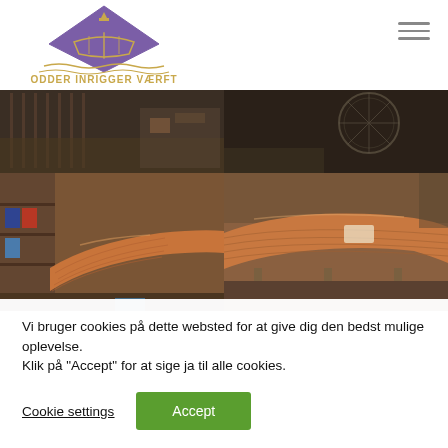[Figure (logo): Odder Inrigger Værft logo — purple diamond shape with boat hull and crown symbol, gold text below reading ODDER INRIGGER VÆRFT with wave decorations]
[Figure (photo): 2x2 grid of workshop photos showing wooden boat hulls being built — top row shows interior workshop scenes with boat frames, bottom row shows exterior views of polished wooden rowing boat hulls in workshop]
Vi bruger cookies på dette websted for at give dig den bedst mulige oplevelse.
Klik på "Accept" for at sige ja til alle cookies.
Cookie settings
Accept